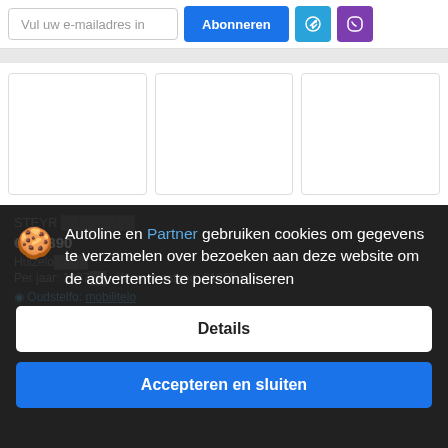Vul uw e-mailadres in
Abonneren
[Figure (screenshot): Three empty white card placeholders in a row]
STEYR [partially obscured]
€ 32.890
Huizelo... [partially obscured]
Per jaar: 1987... Kilometrestand: 81225 km
Autoline en Partner gebruiken cookies om gegevens te verzamelen over bezoeken aan deze website om de advertenties te personaliseren
Details
Accepteren en sluiten